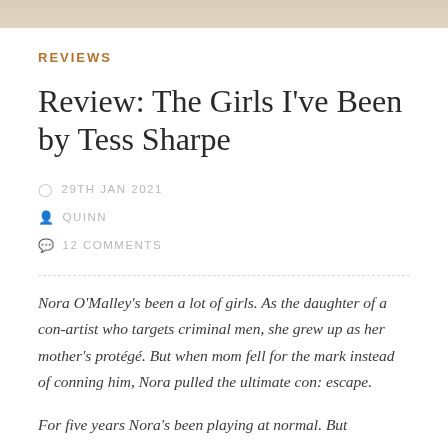[Figure (photo): Decorative image strip at the top of the page]
REVIEWS
Review: The Girls I've Been by Tess Sharpe
29TH JAN 2021
QUINN
12 COMMENTS
Nora O'Malley's been a lot of girls. As the daughter of a con-artist who targets criminal men, she grew up as her mother's protégé. But when mom fell for the mark instead of conning him, Nora pulled the ultimate con: escape.
For five years Nora's been playing at normal. But